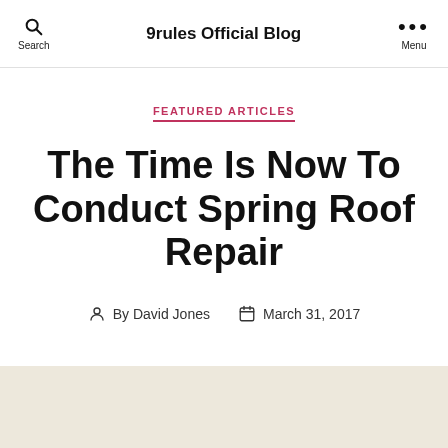9rules Official Blog
FEATURED ARTICLES
The Time Is Now To Conduct Spring Roof Repair
By David Jones   March 31, 2017